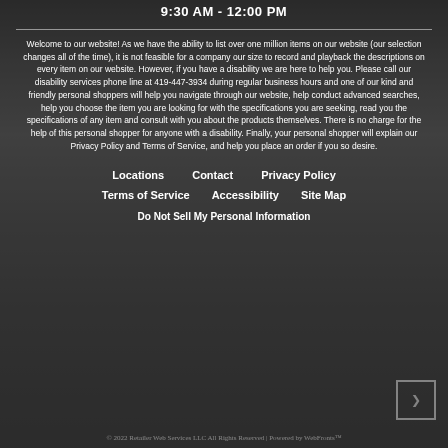9:30 AM - 12:00 PM
Welcome to our website! As we have the ability to list over one million items on our website (our selection changes all of the time), it is not feasible for a company our size to record and playback the descriptions on every item on our website. However, if you have a disability we are here to help you. Please call our disability services phone line at 419-447-3934 during regular business hours and one of our kind and friendly personal shoppers will help you navigate through our website, help conduct advanced searches, help you choose the item you are looking for with the specifications you are seeking, read you the specifications of any item and consult with you about the products themselves. There is no charge for the help of this personal shopper for anyone with a disability. Finally, your personal shopper will explain our Privacy Policy and Terms of Service, and help you place an order if you so desire.
Locations
Contact
Privacy Policy
Terms of Service
Accessibility
Site Map
Do Not Sell My Personal Information
© 2022 Retailer Web Services LLC All Rights Reserved | Powered by WebFronts™